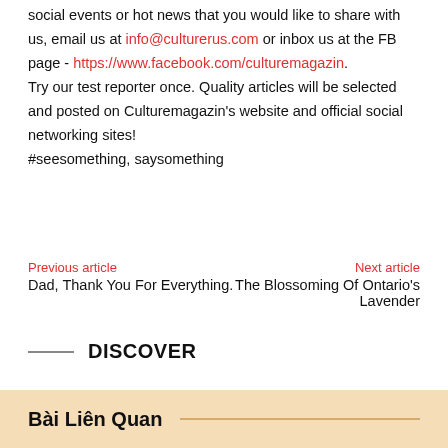social events or hot news that you would like to share with us, email us at info@culturerus.com or inbox us at the FB page - https://www.facebook.com/culturemagazin. Try our test reporter once. Quality articles will be selected and posted on Culturemagazin's website and official social networking sites!
#seesomething, saysomething
Previous article
Dad, Thank You For Everything.
Next article
The Blossoming Of Ontario's Lavender
DISCOVER
Bài Liên Quan